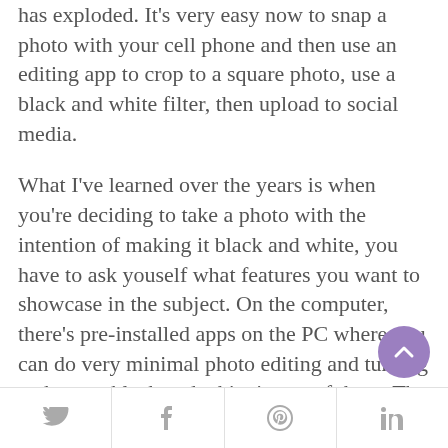has exploded. It's very easy now to snap a photo with your cell phone and then use an editing app to crop to a square photo, use a black and white filter, then upload to social media.

What I've learned over the years is when you're deciding to take a photo with the intention of making it black and white, you have to ask youself what features you want to showcase in the subject. On the computer, there's pre-installed apps on the PC where you can do very minimal photo editing and turning a photo to black and white is one of them. The issue you run into is that the app is not sophisticated enough to do anything more than
Twitter | Facebook | Pinterest | LinkedIn